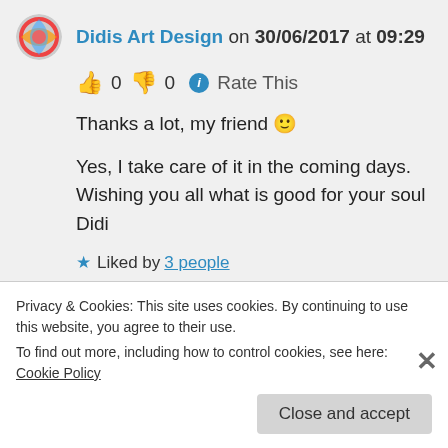Didis Art Design on 30/06/2017 at 09:29
👍 0 👎 0 ℹ Rate This
Thanks a lot, my friend 🙂

Yes, I take care of it in the coming days.
Wishing you all what is good for your soul
Didi
★ Liked by 3 people
Log in to Reply
Privacy & Cookies: This site uses cookies. By continuing to use this website, you agree to their use.
To find out more, including how to control cookies, see here: Cookie Policy
Close and accept